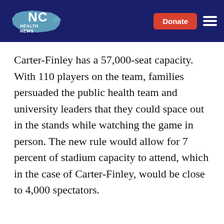NC Health News
Carter-Finley has a 57,000-seat capacity. With 110 players on the team, families persuaded the public health team and university leaders that they could space out in the stands while watching the game in person. The new rule would allow for 7 percent of stadium capacity to attend, which in the case of Carter-Finley, would be close to 4,000 spectators.